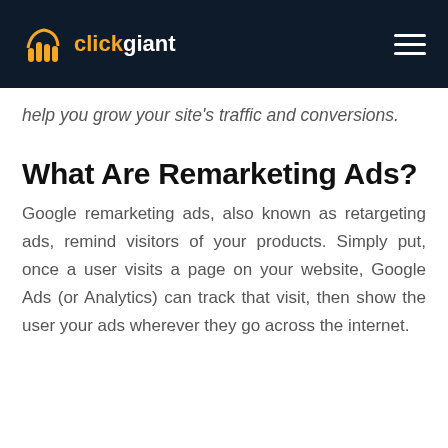clickgiant
help you grow your site's traffic and conversions.
What Are Remarketing Ads?
Google remarketing ads, also known as retargeting ads, remind visitors of your products. Simply put, once a user visits a page on your website, Google Ads (or Analytics) can track that visit, then show the user your ads wherever they go across the internet.